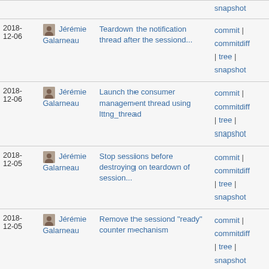| Date | Author | Commit | Links |
| --- | --- | --- | --- |
| 2018-12-06 | Jérémie Galarneau | Teardown the notification thread after the sessiond... | commit | commitdiff | tree | snapshot |
| 2018-12-06 | Jérémie Galarneau | Launch the consumer management thread using lttng_thread | commit | commitdiff | tree | snapshot |
| 2018-12-05 | Jérémie Galarneau | Stop sessions before destroying on teardown of session... | commit | commitdiff | tree | snapshot |
| 2018-12-05 | Jérémie Galarneau | Remove the sessiond "ready" counter mechanism | commit | commitdiff | tree | snapshot |
| 2018-12-05 | Jérémie Galarneau | Load session configurations from lttng-sessiond's main... | commit | commitdiff | tree | snapshot |